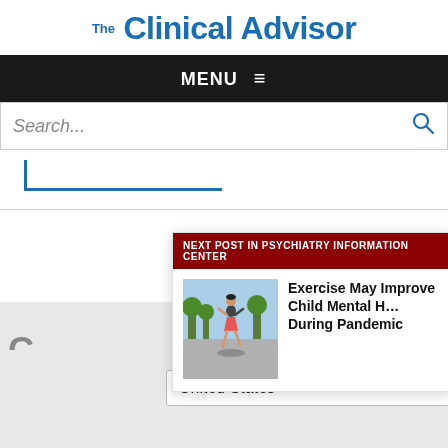Clinical Advisor
MENU
Search...
[Figure (screenshot): Blue bracket/underline decoration element]
[Figure (screenshot): Next post card overlay: NEXT POST IN PSYCHIATRY INFORMATION CENTER with article titled 'Exercise May Improve Child Mental Health During Pandemic' and a photo of a child jumping/skipping outdoors]
United States